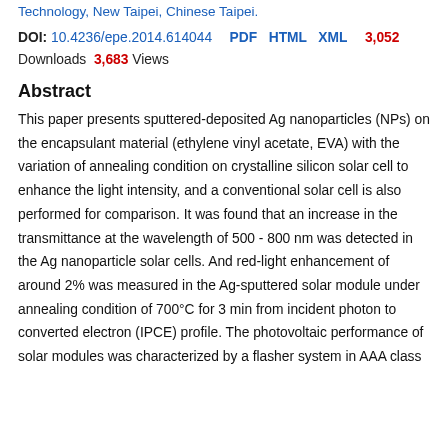Technology, New Taipei, Chinese Taipei.
DOI: 10.4236/epe.2014.614044  PDF  HTML  XML  3,052
Downloads  3,683 Views
Abstract
This paper presents sputtered-deposited Ag nanoparticles (NPs) on the encapsulant material (ethylene vinyl acetate, EVA) with the variation of annealing condition on crystalline silicon solar cell to enhance the light intensity, and a conventional solar cell is also performed for comparison. It was found that an increase in the transmittance at the wavelength of 500 - 800 nm was detected in the Ag nanoparticle solar cells. And red-light enhancement of around 2% was measured in the Ag-sputtered solar module under annealing condition of 700°C for 3 min from incident photon to converted electron (IPCE) profile. The photovoltaic performance of solar modules was characterized by a flasher system in AAA class